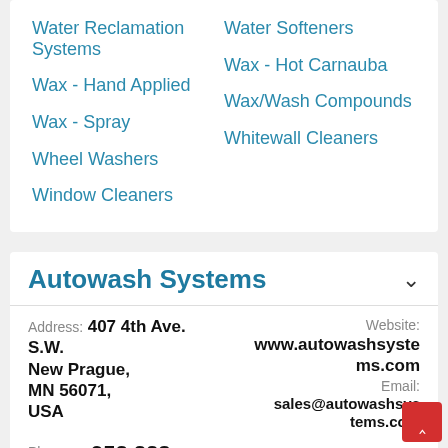Water Reclamation Systems
Water Softeners
Wax - Hand Applied
Wax - Hot Carnauba
Wax - Spray
Wax/Wash Compounds
Wheel Washers
Whitewall Cleaners
Window Cleaners
Autowash Systems
Address: 407 4th Ave. S.W. New Prague, MN 56071, USA
Website: www.autowashsystems.com
Email: sales@autowashsystems.com
Phone: 952 223-4076